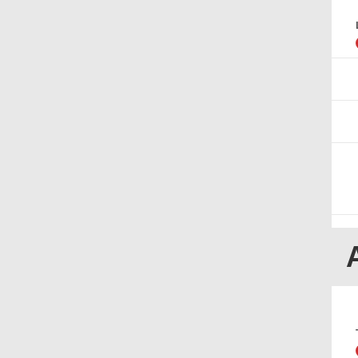LINE
Thursday, 30 Jun at 9:20am
Brisbane
Western Bulldogs
AFL - Brisbane Vs Western Bulldogs
TOTAL GAME POINTS - OVER/UNDER
Thursday, 30 Jun at 9:20am
Over
Under